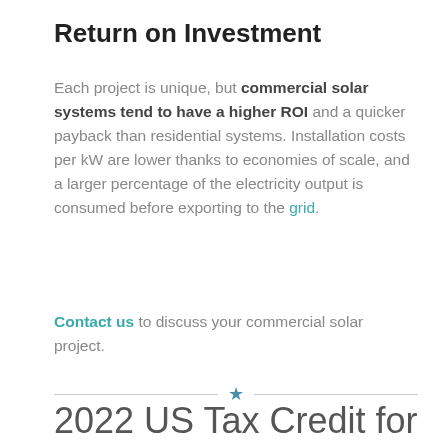Return on Investment
Each project is unique, but commercial solar systems tend to have a higher ROI and a quicker payback than residential systems. Installation costs per kW are lower thanks to economies of scale, and a larger percentage of the electricity output is consumed before exporting to the grid.
Contact us to discuss your commercial solar project.
2022 US Tax Credit for Commercial Solar